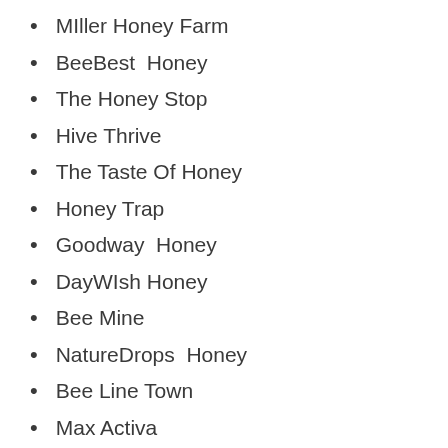MIller Honey Farm
BeeBest  Honey
The Honey Stop
Hive Thrive
The Taste Of Honey
Honey Trap
Goodway  Honey
DayWIsh Honey
Bee Mine
NatureDrops  Honey
Bee Line Town
Max Activa
Chillberry
Emerland
Tremper